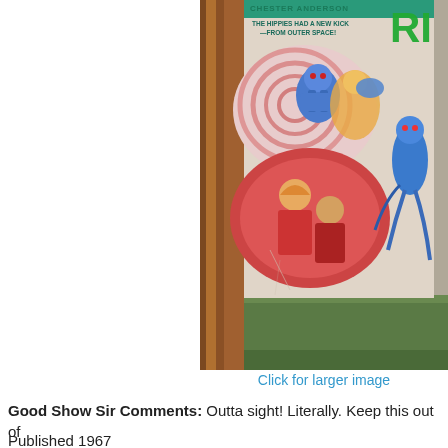[Figure (photo): Photo of a vintage 1967 sci-fi paperback book cover featuring psychedelic artwork. The cover shows 'Chester Anderson' as author and the text 'THE HIPPIES HAD A NEW KICK —FROM OUTER SPACE!' in teal/green text. The cover art shows overlapping oval shapes containing alien/creature figures and human figures in vivid colors (blue, red, orange, yellow). The book is propped against a wooden shelf background.]
Click for larger image
Good Show Sir Comments: Outta sight! Literally. Keep this out of
Published 1967